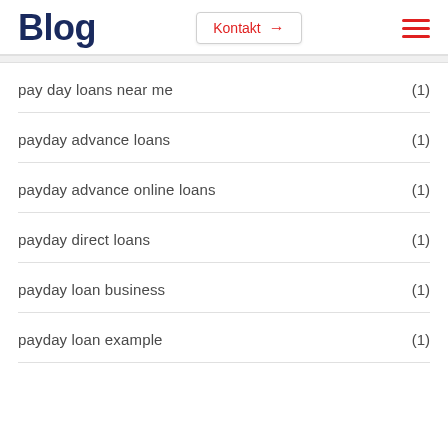Blog | Kontakt →
pay day loans near me (1)
payday advance loans (1)
payday advance online loans (1)
payday direct loans (1)
payday loan business (1)
payday loan example (1)